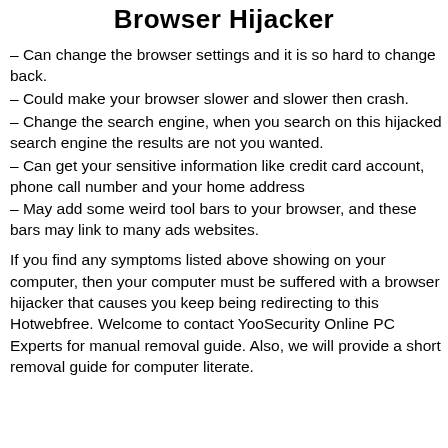Browser Hijacker
– Can change the browser settings and it is so hard to change back.
– Could make your browser slower and slower then crash.
– Change the search engine, when you search on this hijacked search engine the results are not you wanted.
– Can get your sensitive information like credit card account, phone call number and your home address
– May add some weird tool bars to your browser, and these bars may link to many ads websites.
If you find any symptoms listed above showing on your computer, then your computer must be suffered with a browser hijacker that causes you keep being redirecting to this Hotwebfree. Welcome to contact YooSecurity Online PC Experts for manual removal guide. Also, we will provide a short removal guide for computer literate.